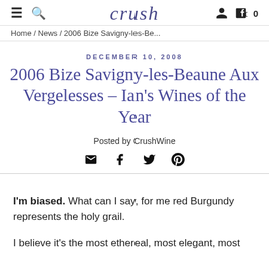crush
Home / News / 2006 Bize Savigny-les-Be...
DECEMBER 10, 2008
2006 Bize Savigny-les-Beaune Aux Vergelesses – Ian's Wines of the Year
Posted by CrushWine
I'm biased. What can I say, for me red Burgundy represents the holy grail.
I believe it's the most ethereal, most elegant, most